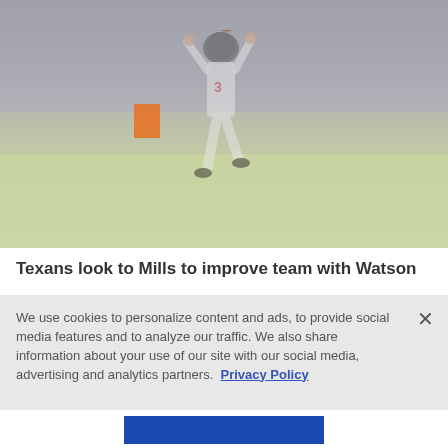[Figure (photo): Football player in white uniform catching a ball on a field, with crowd in background. Player appears to be wearing a Texans uniform.]
Texans look to Mills to improve team with Watson
We use cookies to personalize content and ads, to provide social media features and to analyze our traffic. We also share information about your use of our site with our social media, advertising and analytics partners.  Privacy Policy